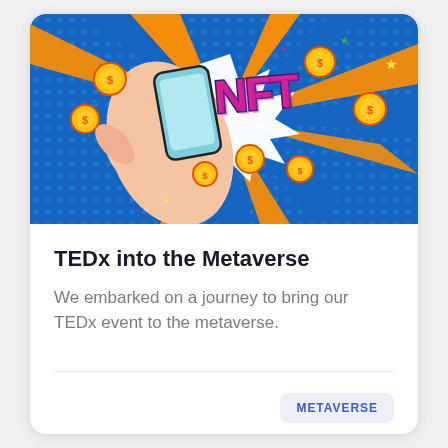[Figure (illustration): Colorful pop-art style illustration of a hand holding a phone with NFT text in bold pink letters, surrounded by gold coins, colorful sunburst rays in orange, blue, yellow on a dotted background with small stars]
TEDx into the Metaverse
We embarked on a journey to bring our TEDx event to the metaverse.
METAVERSE